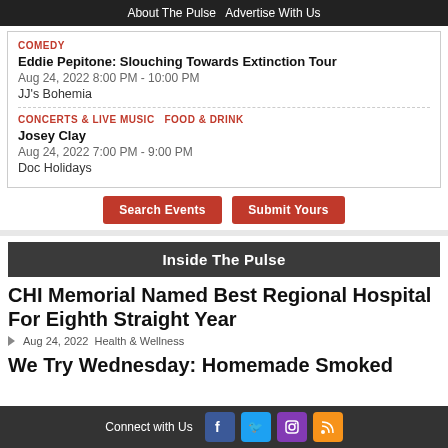About The Pulse   Advertise With Us
COMEDY
Eddie Pepitone: Slouching Towards Extinction Tour
Aug 24, 2022 8:00 PM - 10:00 PM
JJ's Bohemia
CONCERTS & LIVE MUSIC   FOOD & DRINK
Josey Clay
Aug 24, 2022 7:00 PM - 9:00 PM
Doc Holidays
Search Events   Submit Yours
Inside The Pulse
CHI Memorial Named Best Regional Hospital For Eighth Straight Year
Aug 24, 2022 Health & Wellness
We Try Wednesday: Homemade Smoked
Connect with Us